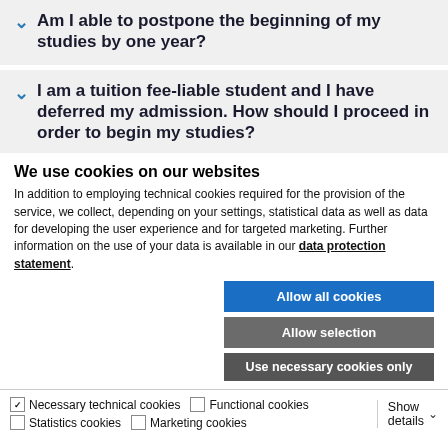Am I able to postpone the beginning of my studies by one year?
I am a tuition fee-liable student and I have deferred my admission. How should I proceed in order to begin my studies?
We use cookies on our websites
In addition to employing technical cookies required for the provision of the service, we collect, depending on your settings, statistical data as well as data for developing the user experience and for targeted marketing. Further information on the use of your data is available in our data protection statement.
Allow all cookies
Allow selection
Use necessary cookies only
Necessary technical cookies  Functional cookies  Statistics cookies  Marketing cookies  Show details